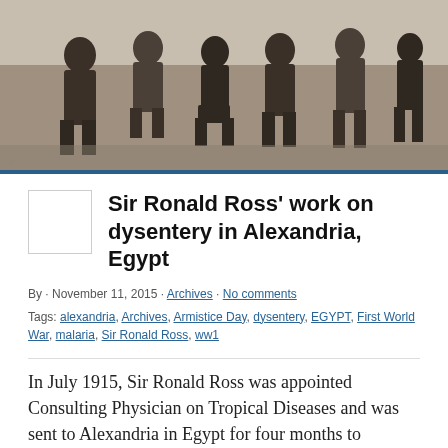[Figure (photo): Black and white historical photograph of a group of men, some seated and some standing, outdoors.]
Sir Ronald Ross' work on dysentery in Alexandria, Egypt
By · November 11, 2015 · Archives · No comments
Tags: alexandria, Archives, Armistice Day, dysentery, EGYPT, First World War, malaria, Sir Ronald Ross, ww1
In July 1915, Sir Ronald Ross was appointed Consulting Physician on Tropical Diseases and was sent to Alexandria in Egypt for four months to research disease among the troops in the Dardanelles. In his report at the end of his service, he states that on visiting seven large hospitals in Alexandria, nearly all medical cases belonged to five groups of diseases usually prevalent in